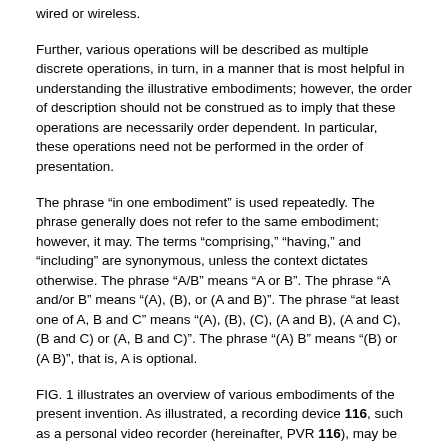wired or wireless.
Further, various operations will be described as multiple discrete operations, in turn, in a manner that is most helpful in understanding the illustrative embodiments; however, the order of description should not be construed as to imply that these operations are necessarily order dependent. In particular, these operations need not be performed in the order of presentation.
The phrase “in one embodiment” is used repeatedly. The phrase generally does not refer to the same embodiment; however, it may. The terms “comprising,” “having,” and “including” are synonymous, unless the context dictates otherwise. The phrase “A/B” means “A or B”. The phrase “A and/or B” means “(A), (B), or (A and B)”. The phrase “at least one of A, B and C” means “(A), (B), (C), (A and B), (A and C), (B and C) or (A, B and C)”. The phrase “(A) B” means “(B) or (A B)”, that is, A is optional.
FIG. 1 illustrates an overview of various embodiments of the present invention. As illustrated, a recording device 116, such as a personal video recorder (hereinafter, PVR 116), may be communicatively coupled to a server 108 and receive recording assistance information comprised of customized content and/or content information. Such customized content and/or content information may include a list of programs to record and/or a directive to record certain programs based at least on one or more communities that a user of PVR 116 is a member of. The customized